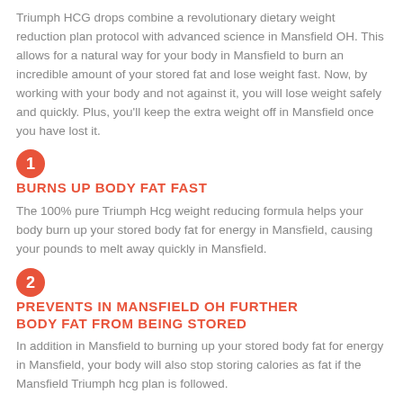Triumph HCG drops combine a revolutionary dietary weight reduction plan protocol with advanced science in Mansfield OH. This allows for a natural way for your body in Mansfield to burn an incredible amount of your stored fat and lose weight fast. Now, by working with your body and not against it, you will lose weight safely and quickly. Plus, you'll keep the extra weight off in Mansfield once you have lost it.
1 BURNS UP BODY FAT FAST
The 100% pure Triumph Hcg weight reducing formula helps your body burn up your stored body fat for energy in Mansfield, causing your pounds to melt away quickly in Mansfield.
2 PREVENTS IN MANSFIELD OH FURTHER BODY FAT FROM BEING STORED
In addition in Mansfield to burning up your stored body fat for energy in Mansfield, your body will also stop storing calories as fat if the Mansfield Triumph hcg plan is followed.
3 APPETITE SUPPRESSION